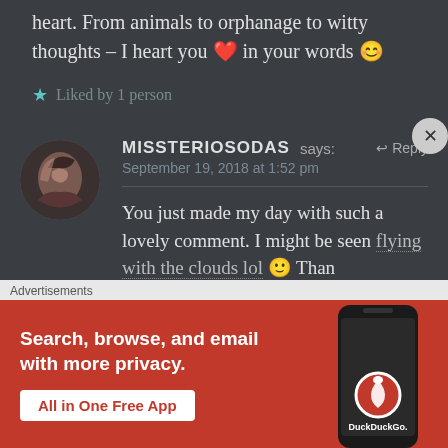heart. From animals to orphanage to witty thoughts – I heart you ❤️ in your words 😊
★ Liked by 1 person
MISSTERIOSODAS says: ↩ Reply
September 19, 2018 at 1:52 pm
You just made my day with such a lovely comment. I might be seen flying with the clouds lol 🙂 Thank
Advertisements
[Figure (screenshot): DuckDuckGo advertisement banner: orange/red background with text 'Search, browse, and email with more privacy. All in One Free App' and a phone mockup showing DuckDuckGo app]